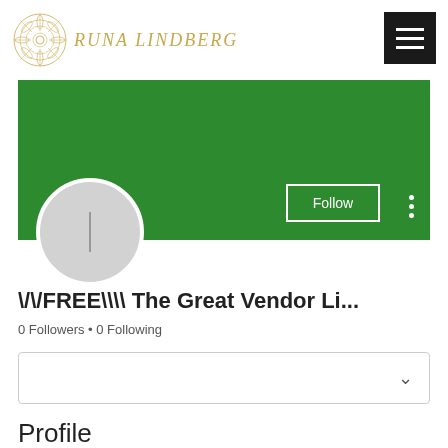RUNA LINDBERG
[Figure (illustration): Green cover photo banner for a social profile page]
[Figure (photo): Circular profile picture placeholder with a gray background and a faint vertical line icon]
\/\/FREE\\\\ The Great Vendor Li...
0 Followers • 0 Following
Profile
Join date: May 16, 2022